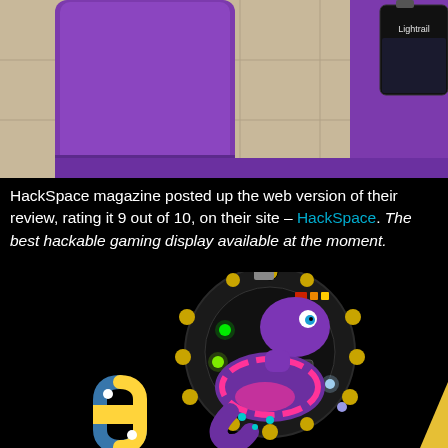[Figure (photo): Top portion of a photo showing a purple electronic device (likely a gaming console or display) sitting on a tiled floor. A screen with 'Lightrail' text is visible on the device.]
HackSpace magazine posted up the web version of t[heir review, rating it 9 out of 10, on their site – HackSpace. The best hacka[ble gaming display available at the moment.
[Figure (photo): Bottom portion showing a circular Circuit Playground Express board with LEDs lit up, overlaid with a cartoon purple snake character with pink markings, a Python logo (blue snake), and a yellow triangle. Black background.]